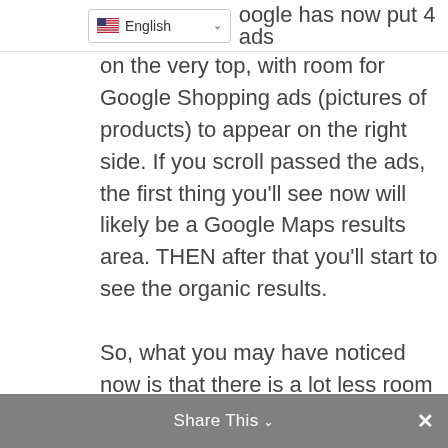English
Google has now put 4 ads on the very top, with room for Google Shopping ads (pictures of products) to appear on the right side. If you scroll passed the ads, the first thing you’ll see now will likely be a Google Maps results area. THEN after that you’ll start to see the organic results.

So, what you may have noticed now is that there is a lot less room for organic results above the fold (a.k.a. in the area you see before you scroll down on the page). The point of this is so that Google can get more clicks on their ads and make more
Share This